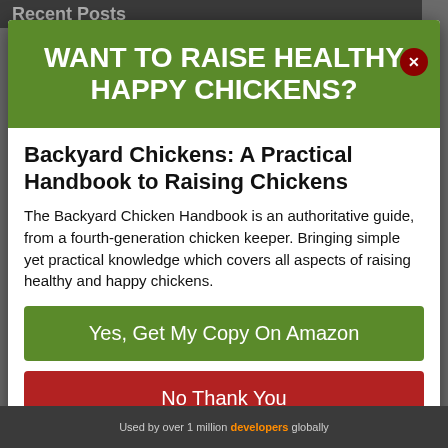Recent Posts
WANT TO RAISE HEALTHY HAPPY CHICKENS?
Backyard Chickens: A Practical Handbook to Raising Chickens
The Backyard Chicken Handbook is an authoritative guide, from a fourth-generation chicken keeper. Bringing simple yet practical knowledge which covers all aspects of raising healthy and happy chickens.
Yes, Get My Copy On Amazon
No Thank You
Used by over 1 million developers globally